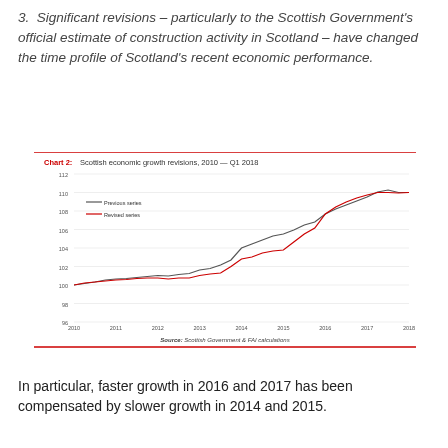3. Significant revisions – particularly to the Scottish Government's official estimate of construction activity in Scotland – have changed the time profile of Scotland's recent economic performance.
[Figure (line-chart): Chart 2: Scottish economic growth revisions, 2010 — Q1 2018]
Source: Scottish Government & FAI calculations
In particular, faster growth in 2016 and 2017 has been compensated by slower growth in 2014 and 2015.